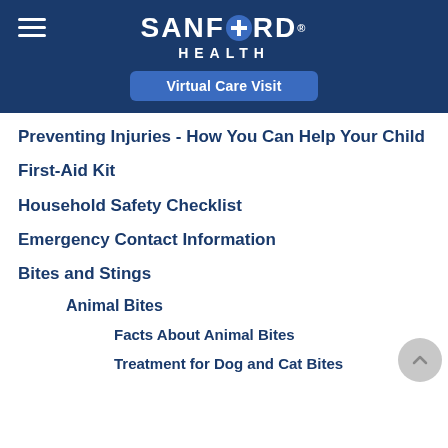SANFORD HEALTH
Virtual Care Visit
Preventing Injuries - How You Can Help Your Child
First-Aid Kit
Household Safety Checklist
Emergency Contact Information
Bites and Stings
Animal Bites
Facts About Animal Bites
Treatment for Dog and Cat Bites